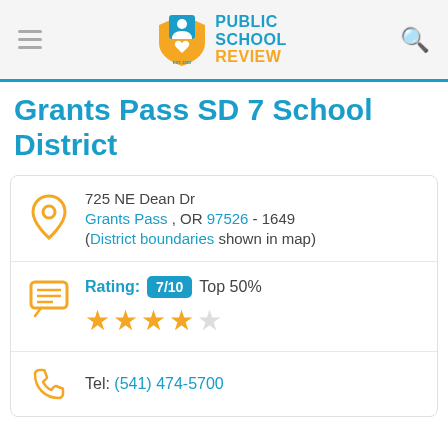Public School Review
Grants Pass SD 7 School District
725 NE Dean Dr
Grants Pass , OR 97526 - 1649
(District boundaries shown in map)
Rating: 7/10 Top 50%
Tel: (541) 474-5700